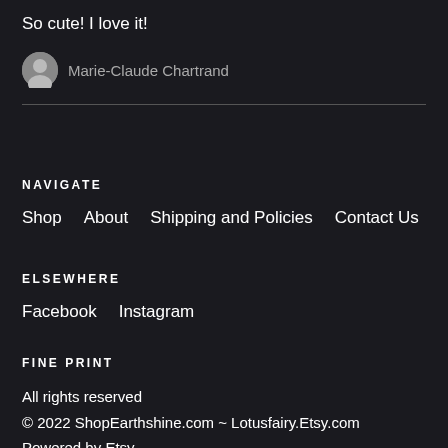So cute! I love it!
Marie-Claude Chartrand
NAVIGATE
Shop
About
Shipping and Policies
Contact Us
ELSEWHERE
Facebook
Instagram
FINE PRINT
All rights reserved
© 2022 ShopEarthshine.com ~ Lotusfairy.Etsy.com
Powered by Etsy